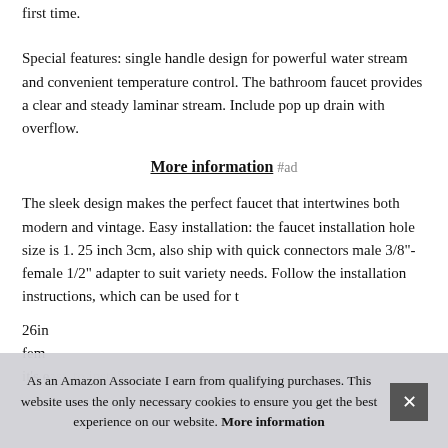first time.
Special features: single handle design for powerful water stream and convenient temperature control. The bathroom faucet provides a clear and steady laminar stream. Include pop up drain with overflow.
More information #ad
The sleek design makes the perfect faucet that intertwines both modern and vintage. Easy installation: the faucet installation hole size is 1. 25 inch 3cm, also ship with quick connectors male 3/8"-female 1/2" adapter to suit variety needs. Follow the installation instructions, which can be used for t
26in fem it's e...
As an Amazon Associate I earn from qualifying purchases. This website uses the only necessary cookies to ensure you get the best experience on our website. More information